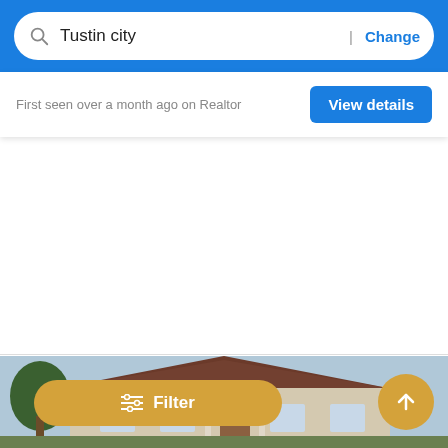[Figure (screenshot): Blue top navigation bar with a white rounded search box containing a search icon, the text 'Tustin city', a pipe separator, and a blue 'Change' link]
Tustin city
| Change
First seen over a month ago on Realtor
View details
Filter
[Figure (photo): Partial view of a house with a tile roof and covered porch/entrance visible at the bottom of the page]